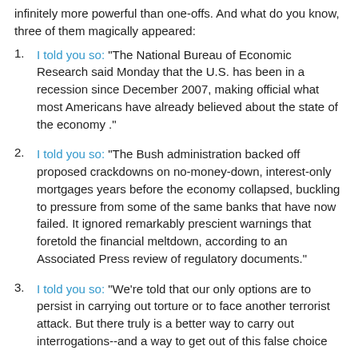infinitely more powerful than one-offs. And what do you know, three of them magically appeared:
I told you so: "The National Bureau of Economic Research said Monday that the U.S. has been in a recession since December 2007, making official what most Americans have already believed about the state of the economy ."
I told you so: "The Bush administration backed off proposed crackdowns on no-money-down, interest-only mortgages years before the economy collapsed, buckling to pressure from some of the same banks that have now failed. It ignored remarkably prescient warnings that foretold the financial meltdown, according to an Associated Press review of regulatory documents."
I told you so: "We're told that our only options are to persist in carrying out torture or to face another terrorist attack. But there truly is a better way to carry out interrogations--and a way to get out of this false choice